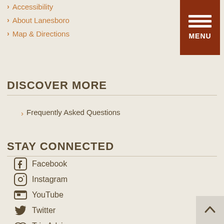[Figure (other): Dark red MENU button with three horizontal white bars and MENU label]
Accessibility
About Lanesboro
Map & Directions
DISCOVER MORE
Frequently Asked Questions
STAY CONNECTED
Facebook
Instagram
YouTube
Twitter
Trip Advisor
Blog
Podcast
[Figure (other): Scroll to top button with upward chevron arrow]